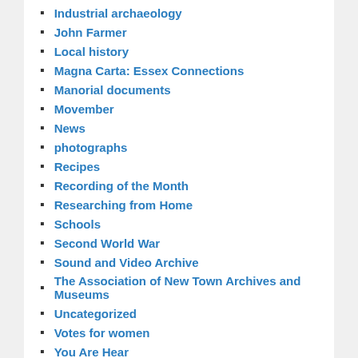Industrial archaeology
John Farmer
Local history
Magna Carta: Essex Connections
Manorial documents
Movember
News
photographs
Recipes
Recording of the Month
Researching from Home
Schools
Second World War
Sound and Video Archive
The Association of New Town Archives and Museums
Uncategorized
Votes for women
You Are Hear
TAGS
Chelmsford